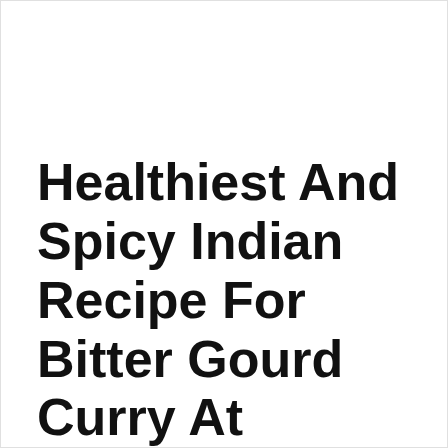Healthiest And Spicy Indian Recipe For Bitter Gourd Curry At